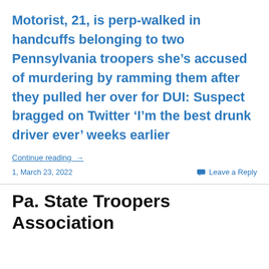Motorist, 21, is perp-walked in handcuffs belonging to two Pennsylvania troopers she's accused of murdering by ramming them after they pulled her over for DUI: Suspect bragged on Twitter ‘I’m the best drunk driver ever’ weeks earlier
Continue reading →
1, March 23, 2022
Leave a Reply
Pa. State Troopers Association